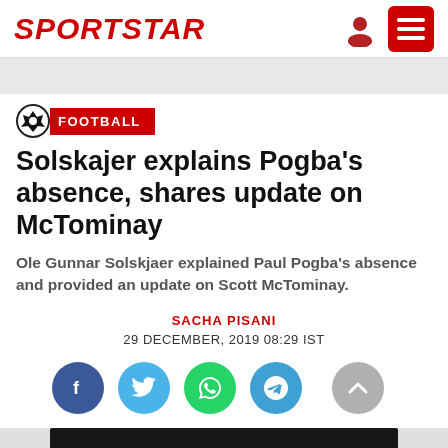SPORTSTAR
[Figure (screenshot): Gray navigation bar below header]
[Figure (logo): Football category badge with soccer ball icon and red FOOTBALL label]
Solskajer explains Pogba's absence, shares update on McTominay
Ole Gunnar Solskjaer explained Paul Pogba's absence and provided an update on Scott McTominay.
SACHA PISANI
29 DECEMBER, 2019 08:29 IST
[Figure (infographic): Social share buttons: Facebook (blue circle), Twitter (light blue circle), WhatsApp (green circle), Telegram (blue circle), and a gray scroll-to-top arrow button on the right]
[Figure (photo): Partial photo of a person with dark hair visible at the bottom of the page against a dark background]